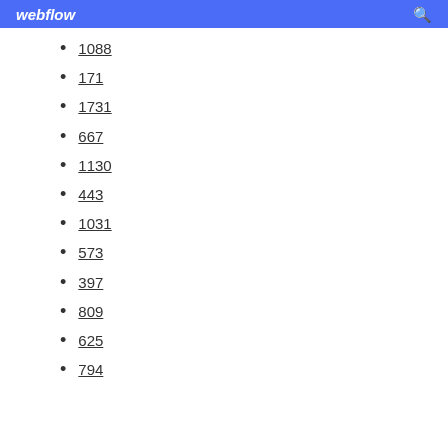webflow
1088
171
1731
667
1130
443
1031
573
397
809
625
794